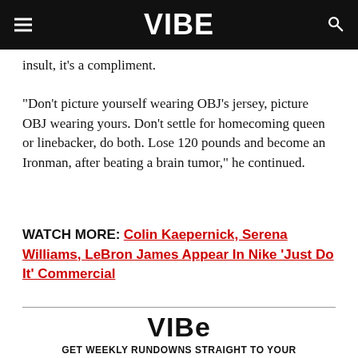VIBE
insult, it's a compliment.
“Don’t picture yourself wearing OBJ’s jersey, picture OBJ wearing yours. Don’t settle for homecoming queen or linebacker, do both. Lose 120 pounds and become an Ironman, after beating a brain tumor,” he continued.
WATCH MORE: Colin Kaepernick, Serena Williams, LeBron James Appear In Nike ‘Just Do It’ Commercial
[Figure (logo): VIBE logo in black text]
GET WEEKLY RUNDOWNS STRAIGHT TO YOUR